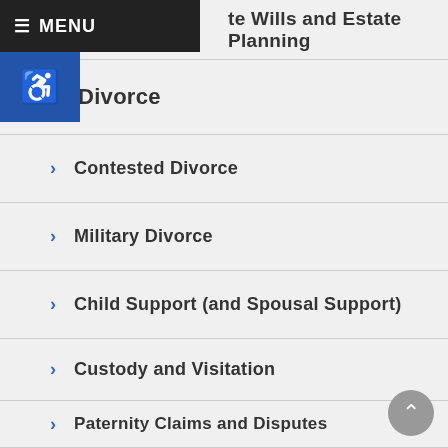Wills and Estate Planning
Divorce
Contested Divorce
Military Divorce
Child Support (and Spousal Support)
Custody and Visitation
Paternity Claims and Disputes
Terminating Parental Rights
Criminal Practice Areas